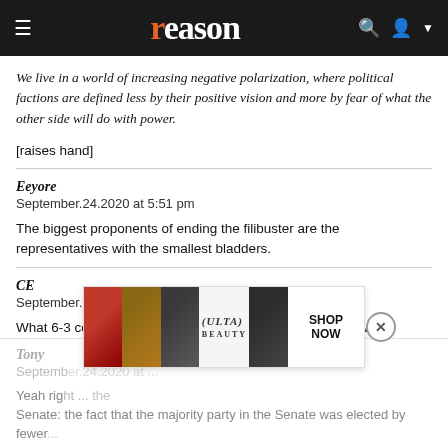reason
We live in a world of increasing negative polarization, where political factions are defined less by their positive vision and more by fear of what the other side will do with power.
[raises hand]
Eeyore
September.24.2020 at 5:51 pm

The biggest proponents of ending the filibuster are the representatives with the smallest bladders.
CE
September.24.2020 at 7:02 pm

What 6-3 conservative majority? Who are the 6 conservatives?
Tony
September.24.2020 at ...

Yeah right ...the Senate: the fact that the majority party in the Senate was elected by fewer...
[Figure (advertisement): ULTA Beauty advertisement banner showing makeup product images and SHOP NOW text]